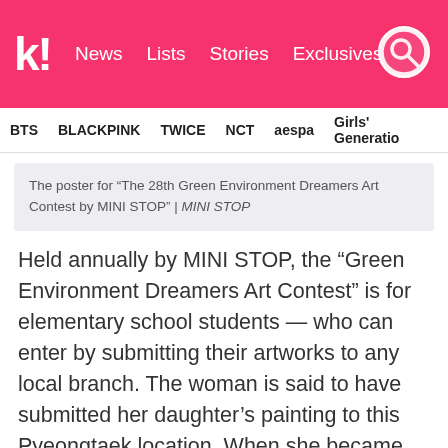koreaboo | News   Lists   Stories   Exclusives
BTS   BLACKPINK   TWICE   NCT   aespa   Girls' Generation
The poster for “The 28th Green Environment Dreamers Art Contest by MINI STOP” | MINI STOP
Held annually by MINI STOP, the “Green Environment Dreamers Art Contest” is for elementary school students — who can enter by submitting their artworks to any local branch. The woman is said to have submitted her daughter’s painting to this Pyeongtaek location. When she became convinced that her daughter’s painting did not get entered, she blamed the branch manager for “misplacing the painting.”